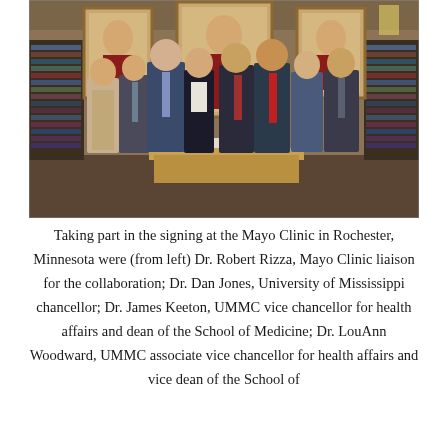[Figure (photo): Group photo of eight people standing in a wood-paneled room with portrait paintings on the wall, gathered around a wooden table at the Mayo Clinic in Rochester, Minnesota, for a signing ceremony.]
Taking part in the signing at the Mayo Clinic in Rochester, Minnesota were (from left) Dr. Robert Rizza, Mayo Clinic liaison for the collaboration; Dr. Dan Jones, University of Mississippi chancellor; Dr. James Keeton, UMMC vice chancellor for health affairs and dean of the School of Medicine; Dr. LouAnn Woodward, UMMC associate vice chancellor for health affairs and vice dean of the School of